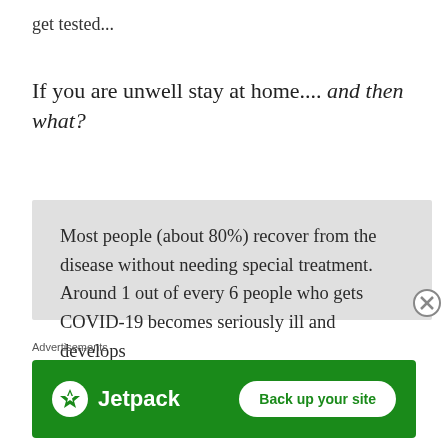get tested...
If you are unwell stay at home.... and then what?
Most people (about 80%) recover from the disease without needing special treatment. Around 1 out of every 6 people who gets COVID-19 becomes seriously ill and develops
Advertisements
[Figure (other): Jetpack advertisement banner with green background, Jetpack logo on left and 'Back up your site' button on right]